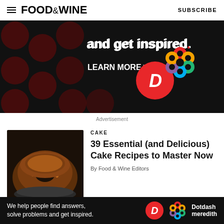FOOD&WINE  SUBSCRIBE
[Figure (screenshot): Advertisement banner with dark background showing 'and get inspired.' text, LEARN MORE button, D logo and colorful Dotdash Meredith flower logo]
Advertisement
[Figure (photo): Photo of a glazed bundt cake on a dark plate]
CAKE
39 Essential (and Delicious) Cake Recipes to Master Now
By Food & Wine Editors
RECIPES
[Figure (screenshot): Bottom advertisement banner: 'We help people find answers, solve problems and get inspired.' with D logo and Dotdash meredith branding]